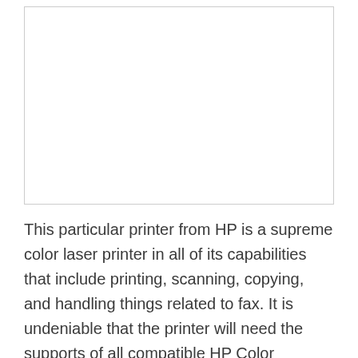[Figure (other): White blank rectangular image placeholder with a thin light gray border.]
This particular printer from HP is a supreme color laser printer in all of its capabilities that include printing, scanning, copying, and handling things related to fax. It is undeniable that the printer will need the supports of all compatible HP Color